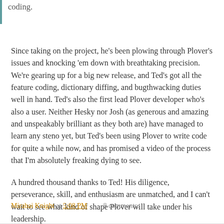coding.
Since taking on the project, he's been plowing through Plover's issues and knocking 'em down with breathtaking precision. We're gearing up for a big new release, and Ted's got all the feature coding, dictionary diffing, and bugthwacking duties well in hand. Ted's also the first lead Plover developer who's also a user. Neither Hesky nor Josh (as generous and amazing and unspeakably brilliant as they both are) have managed to learn any steno yet, but Ted's been using Plover to write code for quite a while now, and has promised a video of the process that I'm absolutely freaking dying to see.
A hundred thousand thanks to Ted! His diligence, perseverance, skill, and enthusiasm are unmatched, and I can't wait to see what kind of shape Plover will take under his leadership.
Mirabai Knight at 5:08 PM    8 comments: